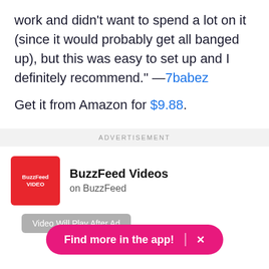work and didn't want to spend a lot on it (since it would probably get all banged up), but this was easy to set up and I definitely recommend." —7babez
Get it from Amazon for $9.88.
ADVERTISEMENT
[Figure (logo): BuzzFeed Video logo on red background with text BuzzFeed Videos on BuzzFeed]
Video Will Play After Ad
Find more in the app! ×